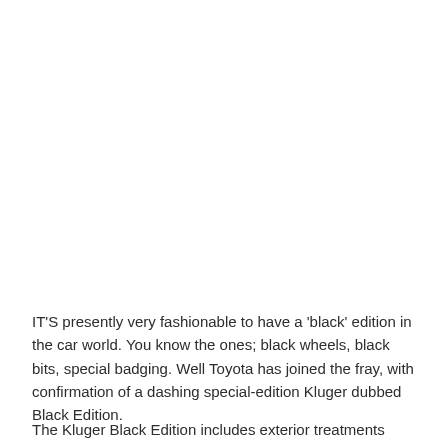IT'S presently very fashionable to have a ‘black’ edition in the car world. You know the ones; black wheels, black bits, special badging. Well Toyota has joined the fray, with confirmation of a dashing special-edition Kluger dubbed Black Edition.
The Kluger Black Edition includes exterior treatments